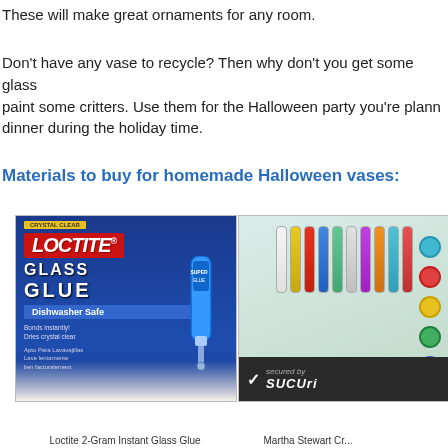These will make great ornaments for any room.
Don't have any vase to recycle? Then why don't you get some glass paint some critters. Use them for the Halloween party you're plann dinner during the holiday time.
Materials to buy for homemade Halloween vases:
[Figure (photo): Loctite Glass Glue product packaging — a blue box/card showing LOCTITE GLASS GLUE with Dishwasher Safe label, Bonds instantly / Dries crystal clear text, and a tube of super glue.]
Loctite 2-Gram Instant Glass Glue
[Figure (photo): Martha Stewart craft paint set — colorful tubes in a package with teal/red/yellow/multicolor tubes visible.]
Martha Stewart Cr...
[Figure (other): Sucuri security badge — dark background with checkmark and 'secured by SUCURI' text.]